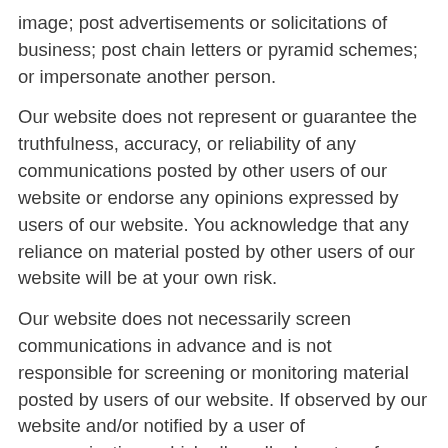image; post advertisements or solicitations of business; post chain letters or pyramid schemes; or impersonate another person.
Our website does not represent or guarantee the truthfulness, accuracy, or reliability of any communications posted by other users of our website or endorse any opinions expressed by users of our website. You acknowledge that any reliance on material posted by other users of our website will be at your own risk.
Our website does not necessarily screen communications in advance and is not responsible for screening or monitoring material posted by users of our website. If observed by our website and/or notified by a user of communications which allegedly do not conform to this agreement, our website may investigate the allegation and determine in good faith and its sole discretion whether to remove or request the removal of the communication. Our website has no liability or responsibility to users of our website for performance or